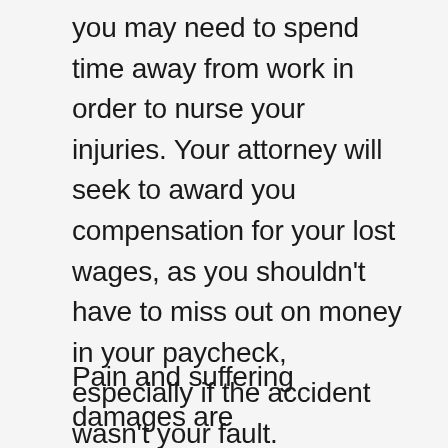you may need to spend time away from work in order to nurse your injuries. Your attorney will seek to award you compensation for your lost wages, as you shouldn't have to miss out on money in your paycheck, especially if the accident wasn't your fault.
Pain and suffering damages are